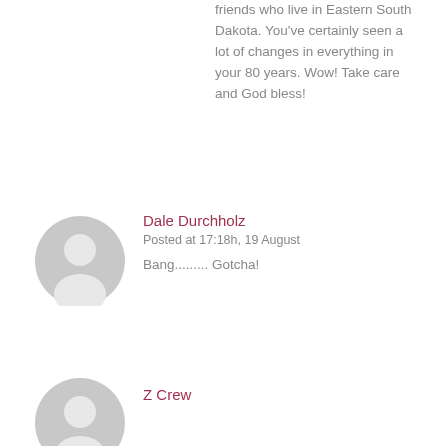friends who live in Eastern South Dakota. You've certainly seen a lot of changes in everything in your 80 years. Wow! Take care and God bless!
Dale Durchholz
Posted at 17:18h, 19 August
Bang......... Gotcha!
Z Crew